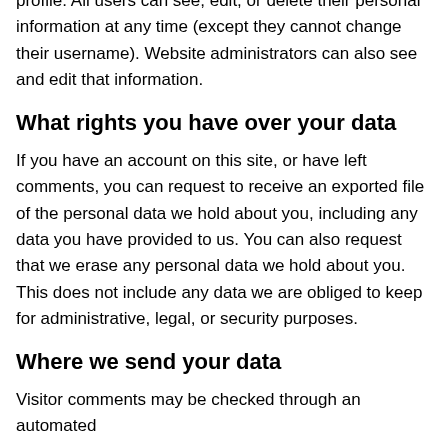profile. All users can see, edit, or delete their personal information at any time (except they cannot change their username). Website administrators can also see and edit that information.
What rights you have over your data
If you have an account on this site, or have left comments, you can request to receive an exported file of the personal data we hold about you, including any data you have provided to us. You can also request that we erase any personal data we hold about you. This does not include any data we are obliged to keep for administrative, legal, or security purposes.
Where we send your data
Visitor comments may be checked through an automated